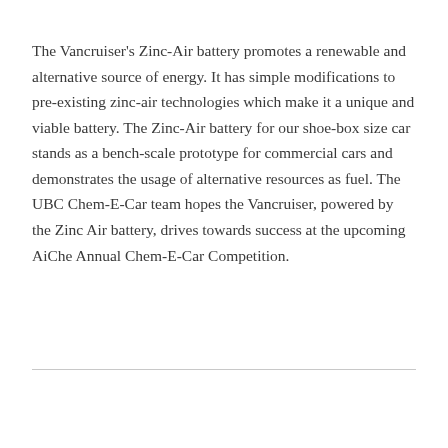The Vancruiser's Zinc-Air battery promotes a renewable and alternative source of energy. It has simple modifications to pre-existing zinc-air technologies which make it a unique and viable battery. The Zinc-Air battery for our shoe-box size car stands as a bench-scale prototype for commercial cars and demonstrates the usage of alternative resources as fuel. The UBC Chem-E-Car team hopes the Vancruiser, powered by the Zinc Air battery, drives towards success at the upcoming AiChe Annual Chem-E-Car Competition.